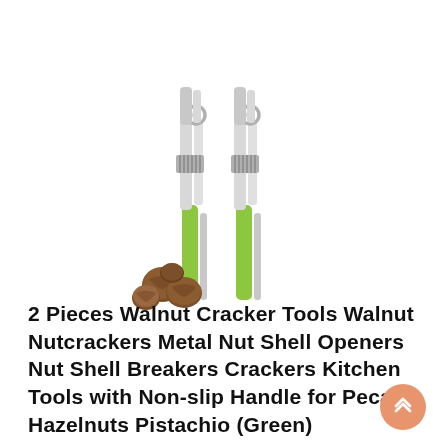[Figure (photo): Two silver and green-handled metal walnut cracker/nutcracker tools shown vertically side by side, with a small pile of walnuts at the bottom left.]
2 Pieces Walnut Cracker Tools Walnut Nutcrackers Metal Nut Shell Openers Nut Shell Breakers Crackers Kitchen Tools with Non-slip Handle for Pecans Hazelnuts Pistachio (Green)